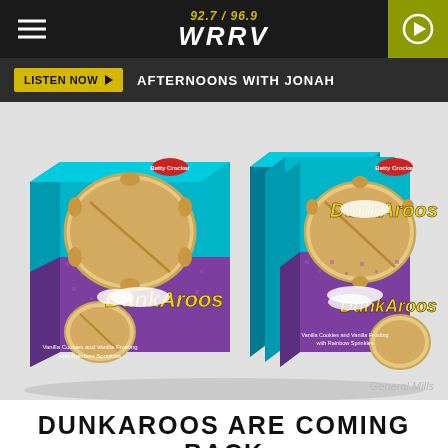92.7 / 96.9 WRRV
LISTEN NOW ▶  AFTERNOONS WITH JONAH
[Figure (photo): Dunkaroos product boxes displayed in teal and purple packaging with cookies and vanilla frosting imagery. Betty Crocker branded. General Mills credit shown.]
General Mills
DUNKAROOS ARE COMING BACK